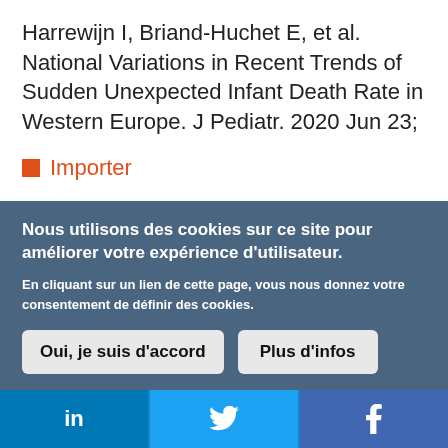Harrewijn I, Briand-Huchet E, et al. National Variations in Recent Trends of Sudden Unexpected Infant Death Rate in Western Europe. J Pediatr. 2020 Jun 23;
Importer
Nous utilisons des cookies sur ce site pour améliorer votre expérience d'utilisateur.
En cliquant sur un lien de cette page, vous nous donnez votre consentement de définir des cookies.
Oui, je suis d'accord
Plus d'infos
[Figure (other): Social media share bar with LinkedIn, Twitter, and Facebook icons]